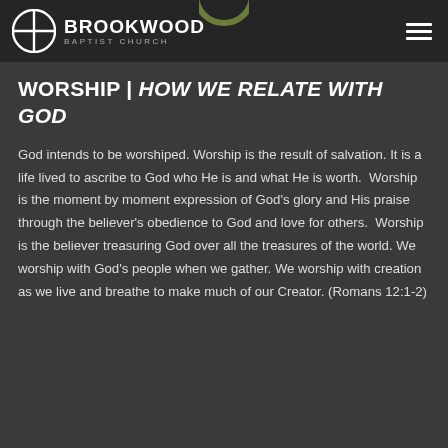BROOKWOOD BAPTIST CHURCH
WORSHIP | HOW WE RELATE WITH GOD
God intends to be worshiped. Worship is the result of salvation. It is a life lived to ascribe to God who He is and what He is worth.  Worship is the moment by moment expression of God's glory and His praise through the believer's obedience to God and love for others.  Worship is the believer treasuring God over all the treasures of the world. We worship with God's people when we gather. We worship with creation as we live and breathe to make much of our Creator. (Romans 12:1-2)